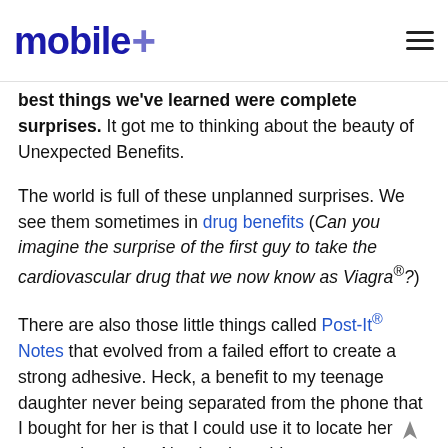mobile+
best things we've learned were complete surprises. It got me to thinking about the beauty of Unexpected Benefits.
The world is full of these unplanned surprises. We see them sometimes in drug benefits (Can you imagine the surprise of the first guy to take the cardiovascular drug that we now know as Viagra®?)
There are also those little things called Post-It® Notes that evolved from a failed effort to create a strong adhesive. Heck, a benefit to my teenage daughter never being separated from the phone that I bought for her is that I could use it to locate her at any given time. Not that I would....